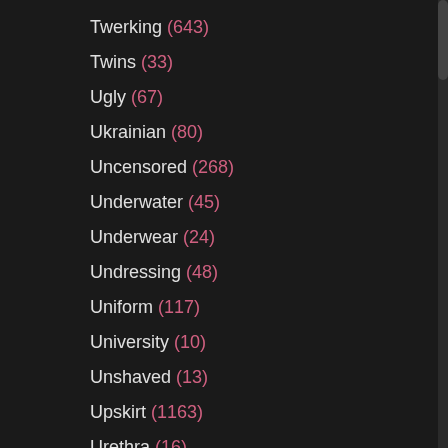Twerking (643)
Twins (33)
Ugly (67)
Ukrainian (80)
Uncensored (268)
Underwater (45)
Underwear (24)
Undressing (48)
Uniform (117)
University (10)
Unshaved (13)
Upskirt (1163)
Urethra (16)
VIP (38)
Vacation (47)
Vacuum (31)